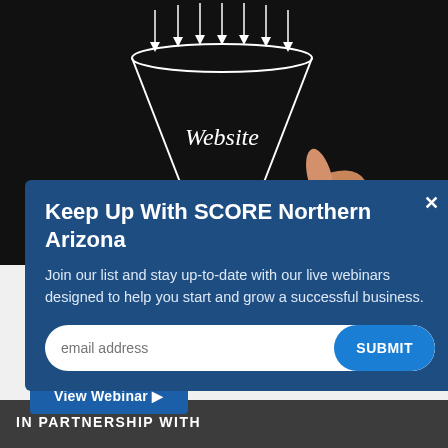[Figure (screenshot): Black background with chalk-drawn funnel diagram labeled 'Website' with arrows pointing down into the funnel, and a hand pointing at it]
Recorded Webinar
Keep Up With SCORE Northern Arizona
Join our list and stay up-to-date with our live webinars designed to help you start and grow a successful business.
email address
SUBMIT
View Webinar ▶
IN PARTNERSHIP WITH